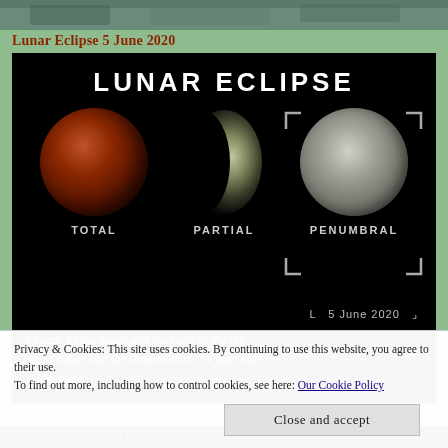[Figure (photo): Top banner photo strip showing a landscape scene]
Lunar Eclipse 5 June 2020
[Figure (illustration): Lunar Eclipse diagram showing three moon phases: Total (red/blood moon), Partial (crescent), and Penumbral (grey moon) with bracket corners around penumbral and date '5 June 2020'. Text overlay reads 'LUNAR ECLIPSE' at top and a poem quote at bottom: 'I swear by the moon and the stars in the sky / And I swear like the shadow that's by your side / I'll be there']
Privacy & Cookies: This site uses cookies. By continuing to use this website, you agree to their use.
To find out more, including how to control cookies, see here: Our Cookie Policy
Close and accept
You won't have to ask if I still care